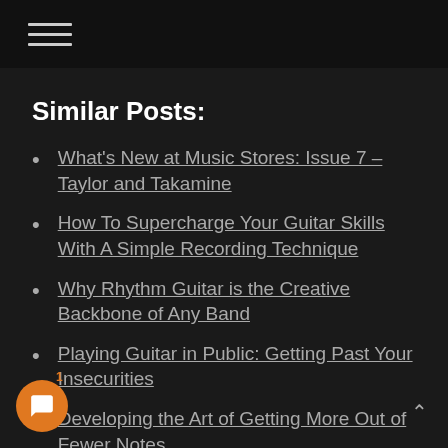≡
Similar Posts:
What's New at Music Stores: Issue 7 – Taylor and Takamine
How To Supercharge Your Guitar Skills With A Simple Recording Technique
Why Rhythm Guitar is the Creative Backbone of Any Band
Playing Guitar in Public: Getting Past Your Insecurities
Developing the Art of Getting More Out of Fewer Notes